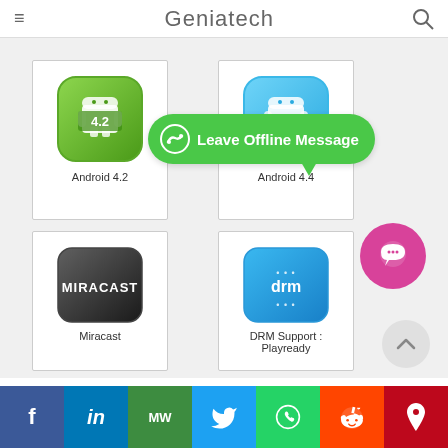Geniatech
[Figure (screenshot): App cards grid showing Android 4.2, Android 4.4, Miracast, and DRM Support: Playready icons with a Leave Offline Message popup bubble and social sharing footer]
Android 4.2
Android 4.4
Leave Offline Message
Miracast
DRM Support : Playready
f in MW t WhatsApp reddit p